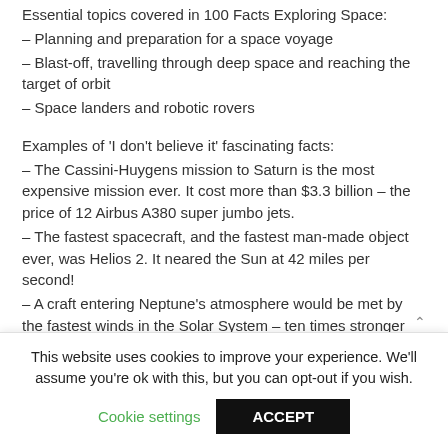Essential topics covered in 100 Facts Exploring Space:
– Planning and preparation for a space voyage
– Blast-off, travelling through deep space and reaching the target of orbit
– Space landers and robotic rovers
Examples of 'I don't believe it' fascinating facts:
– The Cassini-Huygens mission to Saturn is the most expensive mission ever. It cost more than $3.3 billion – the price of 12 Airbus A380 super jumbo jets.
– The fastest spacecraft, and the fastest man-made object ever, was Helios 2. It neared the Sun at 42 miles per second!
– A craft entering Neptune's atmosphere would be met by the fastest winds in the Solar System – ten times stronger than a hurricane on Earth!
This website uses cookies to improve your experience. We'll assume you're ok with this, but you can opt-out if you wish.
Cookie settings   ACCEPT